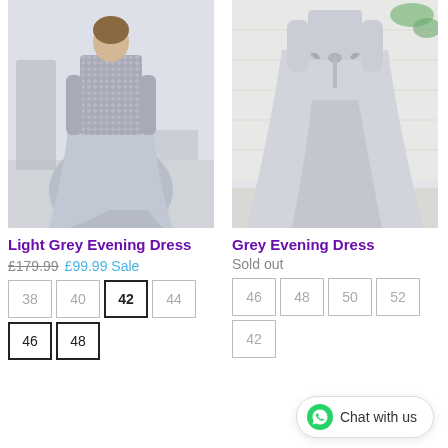[Figure (photo): Light grey evening dress worn by a model, with sequined top and flowing skirt, photographed in an elegant room setting.]
[Figure (photo): Grey evening dress displayed showing a flowing full-length skirt with a bow, photographed against a neutral background.]
Light Grey Evening Dress
£179.99  £99.99 Sale
Sizes: 38, 40, 42 (selected), 44, 46, 48
Grey Evening Dress
Sold out
Sizes: 46, 48, 50, 52, 42
Chat with us